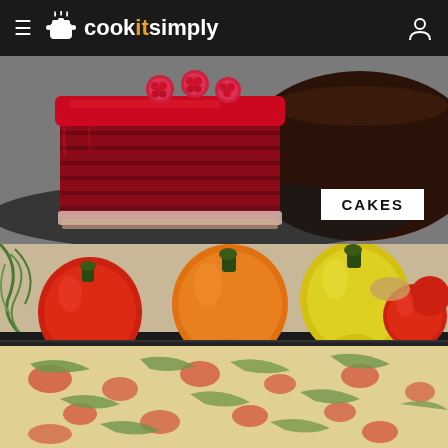cookitsimply
[Figure (photo): A slice of red velvet cake with raspberry frosting and fresh raspberries on top, served on a dark plate alongside another dark chocolate cake. White label reads CAKES in bottom right.]
[Figure (photo): Colorful bell peppers (red, orange, yellow) and tomatoes arranged on a dark tray above a baked dish topped with cheese, tomatoes, and fresh herbs.]